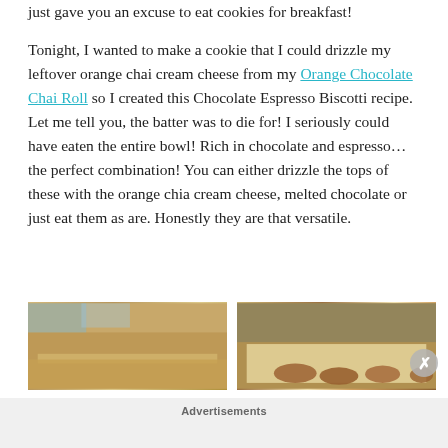just gave you an excuse to eat cookies for breakfast!
Tonight, I wanted to make a cookie that I could drizzle my leftover orange chai cream cheese from my Orange Chocolate Chai Roll so I created this Chocolate Espresso Biscotti recipe.  Let me tell you, the batter was to die for! I seriously could have eaten the entire bowl! Rich in chocolate and espresso… the perfect combination! You can either drizzle the tops of these with the orange chia cream cheese, melted chocolate or just eat them as are. Honestly they are that versatile.
[Figure (photo): Left photo: wooden cutting board surface with baking ingredients]
[Figure (photo): Right photo: baking pan lined with parchment paper with shaped biscotti dough pieces]
Advertisements